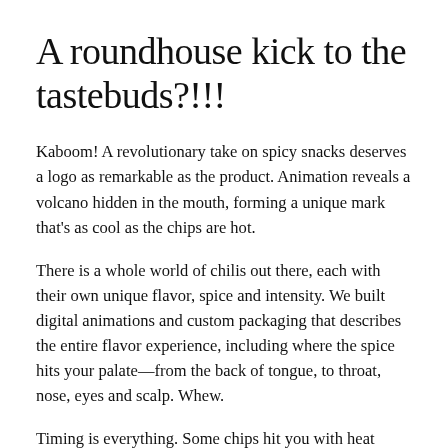A roundhouse kick to the tastebuds?!!!
Kaboom! A revolutionary take on spicy snacks deserves a logo as remarkable as the product. Animation reveals a volcano hidden in the mouth, forming a unique mark that's as cool as the chips are hot.
There is a whole world of chilis out there, each with their own unique flavor, spice and intensity. We built digital animations and custom packaging that describes the entire flavor experience, including where the spice hits your palate—from the back of tongue, to throat, nose, eyes and scalp. Whew.
Timing is everything. Some chips hit you with heat immediately, and others bring a slow burn and duration